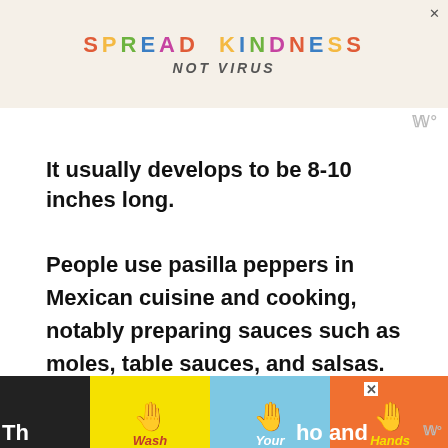[Figure (other): Advertisement banner with colorful 'SPREAD KINDNESS NOT VIRUS' text on beige background with close button]
It usually develops to be 8-10 inches long.
People use pasilla peppers in Mexican cuisine and cooking, notably preparing sauces such as moles, table sauces, and salsas. They also crush the peppers into a powder for use in similar applications or as spices.
[Figure (other): Advertisement banner showing 'Wash Your Hands Often' with hand icons on colorful background segments]